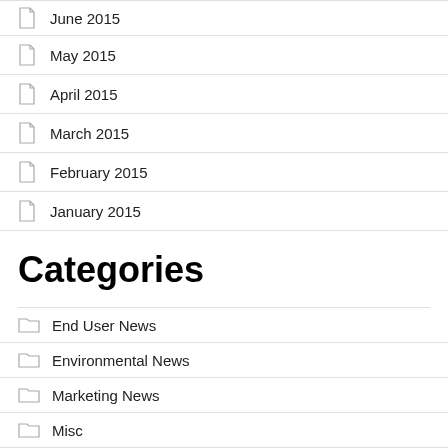June 2015
May 2015
April 2015
March 2015
February 2015
January 2015
Categories
End User News
Environmental News
Marketing News
Misc
Packaging News